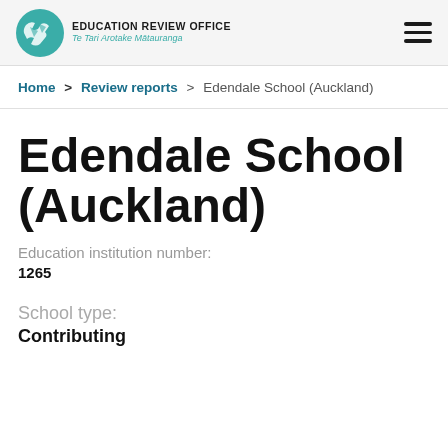Education Review Office - Te Tari Arotake Mātauranga
Home > Review reports > Edendale School (Auckland)
Edendale School (Auckland)
Education institution number: 1265
School type: Contributing